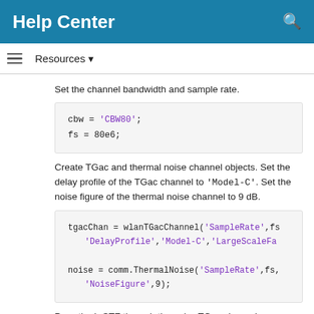Help Center
Resources ▼
Set the channel bandwidth and sample rate.
cbw = 'CBW80';
fs = 80e6;
Create TGac and thermal noise channel objects. Set the delay profile of the TGac channel to 'Model-C'. Set the noise figure of the thermal noise channel to 9 dB.
tgacChan = wlanTGacChannel('SampleRate',fs
     'DelayProfile','Model-C','LargeScaleFa

noise = comm.ThermalNoise('SampleRate',fs,
     'NoiseFigure',9);
Pass the L-STF through the noisy TGac channel.
rxstfNoNoise = tgacChan(txstf);